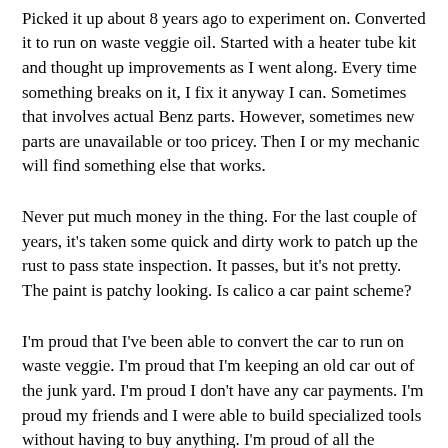half million miles on it. No exaggeration.
Picked it up about 8 years ago to experiment on. Converted it to run on waste veggie oil. Started with a heater tube kit and thought up improvements as I went along. Every time something breaks on it, I fix it anyway I can. Sometimes that involves actual Benz parts. However, sometimes new parts are unavailable or too pricey. Then I or my mechanic will find something else that works.
Never put much money in the thing. For the last couple of years, it's taken some quick and dirty work to patch up the rust to pass state inspection. It passes, but it's not pretty. The paint is patchy looking. Is calico a car paint scheme?
I'm proud that I've been able to convert the car to run on waste veggie. I'm proud that I'm keeping an old car out of the junk yard. I'm proud I don't have any car payments. I'm proud my friends and I were able to build specialized tools without having to buy anything. I'm proud of all the unorthodox repairs and improvements. Heck, I'm even proud of the Grateful Dead stickers on it.